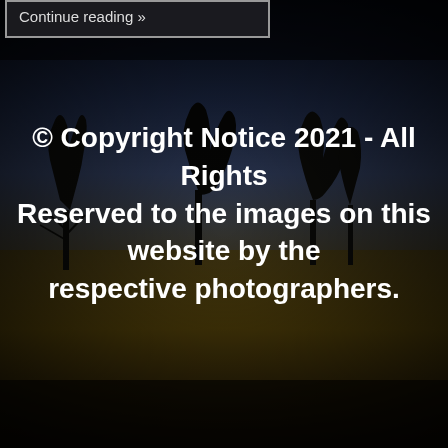[Figure (photo): Darkened landscape photograph showing silhouetted bare trees against a deep blue-to-dark sky, with golden-lit grass field in the foreground. The image is heavily vigneted and darkened.]
Continue reading »
© Copyright Notice 2021 - All Rights Reserved to the images on this website by the respective photographers.